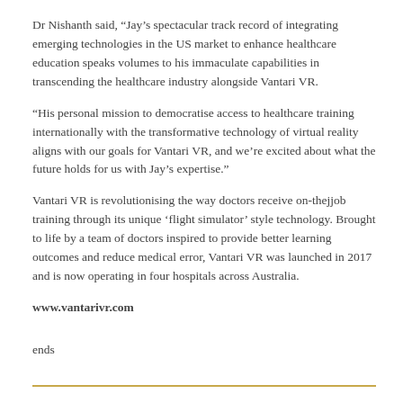Dr Nishanth said, “Jay’s spectacular track record of integrating emerging technologies in the US market to enhance healthcare education speaks volumes to his immaculate capabilities in transcending the healthcare industry alongside Vantari VR.
“His personal mission to democratise access to healthcare training internationally with the transformative technology of virtual reality aligns with our goals for Vantari VR, and we’re excited about what the future holds for us with Jay’s expertise.”
Vantari VR is revolutionising the way doctors receive on-thejjob training through its unique ‘flight simulator’ style technology. Brought to life by a team of doctors inspired to provide better learning outcomes and reduce medical error, Vantari VR was launched in 2017 and is now operating in four hospitals across Australia.
www.vantarivr.com
ends